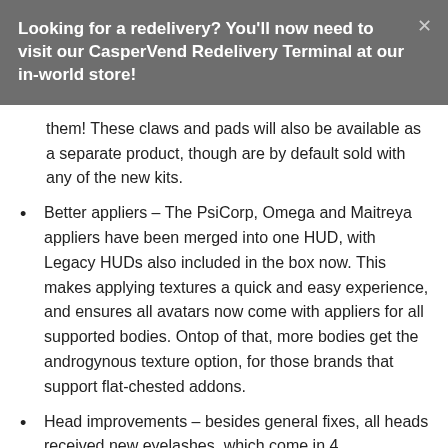Looking for a redelivery? You'll now need to visit our CasperVend Redelivery Terminal at our in-world store!
them! These claws and pads will also be available as a separate product, though are by default sold with any of the new kits.
Better appliers – The PsiCorp, Omega and Maitreya appliers have been merged into one HUD, with Legacy HUDs also included in the box now. This makes applying textures a quick and easy experience, and ensures all avatars now come with appliers for all supported bodies. Ontop of that, more bodies get the androgynous texture option, for those brands that support flat-chested addons.
Head improvements – besides general fixes, all heads received new eyelashes, which come in 4